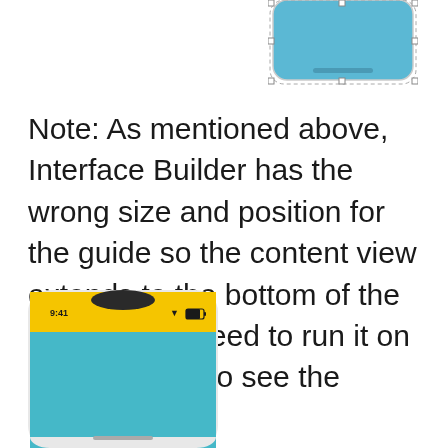[Figure (screenshot): Partial iPhone simulator screenshot showing the bottom portion of a phone with a blue/teal content area and a small home indicator bar, cropped at top]
Note: As mentioned above, Interface Builder has the wrong size and position for the guide so the content view extends to the bottom of the screen. You need to run it on the simulator to see the correct layout:
[Figure (screenshot): iPhone X simulator screenshot showing a phone with a yellow status bar area (notch visible, time 9:41, wifi and battery icons), and a large teal/blue content view filling the rest of the screen below the notch area]